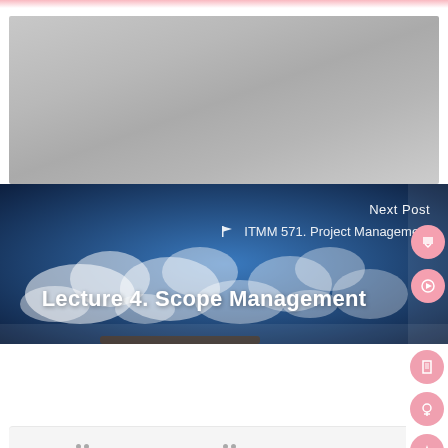[Figure (photo): Gray cloudy sky photo, blurred/muted tones]
[Figure (screenshot): Blue sky with clouds background banner showing Next Post label, ITMM 571 Project Management category link, and Lecture 4 Scope Management title in white bold text]
Next Post
ITMM 571. Project Management
Lecture 4. Scope Management
이전  다음  ( )